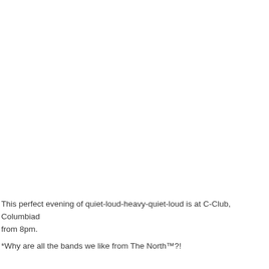This perfect evening of quiet-loud-heavy-quiet-loud is at C-Club, Columbiadam from 8pm.
*Why are all the bands we like from The North™?!